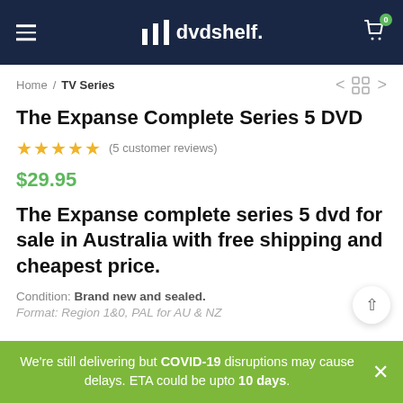dvdshelf.
Home / TV Series
The Expanse Complete Series 5 DVD
★★★★★ (5 customer reviews)
$29.95
The Expanse complete series 5 dvd for sale in Australia with free shipping and cheapest price.
Condition: Brand new and sealed.
Format: Region 1&0, PAL for AU & NZ
We're still delivering but COVID-19 disruptions may cause delays. ETA could be upto 10 days.